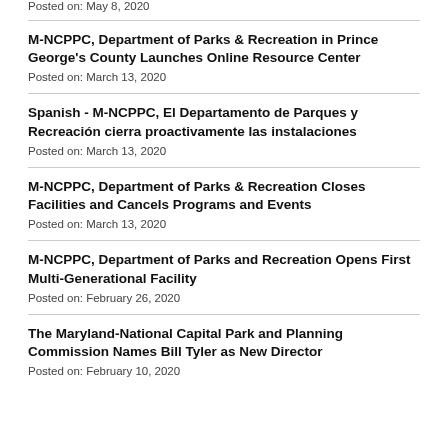Posted on: May 8, 2020
M-NCPPC, Department of Parks & Recreation in Prince George's County Launches Online Resource Center
Posted on: March 13, 2020
Spanish - M-NCPPC, El Departamento de Parques y Recreación cierra proactivamente las instalaciones
Posted on: March 13, 2020
M-NCPPC, Department of Parks & Recreation Closes Facilities and Cancels Programs and Events
Posted on: March 13, 2020
M-NCPPC, Department of Parks and Recreation Opens First Multi-Generational Facility
Posted on: February 26, 2020
The Maryland-National Capital Park and Planning Commission Names Bill Tyler as New Director
Posted on: February 10, 2020